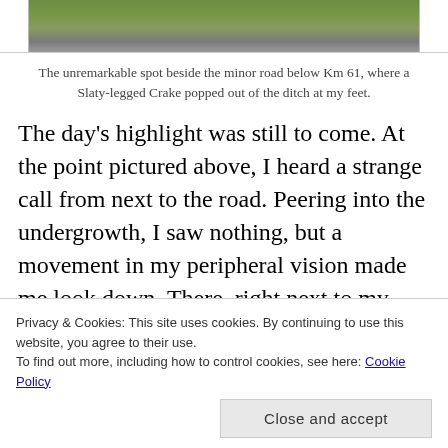[Figure (photo): Partial photo of a minor road area with green vegetation, shown as a cropped strip at the top of the page]
The unremarkable spot beside the minor road below Km 61, where a Slaty-legged Crake popped out of the ditch at my feet.
The day's highlight was still to come. At the point pictured above, I heard a strange call from next to the road. Peering into the undergrowth, I saw nothing, but a movement in my peripheral vision made me look down. There, right next to my feet, was a beautiful adult Slaty-legged Crake. It must have hopped out of the roadside ditch, and was now standing on the road literally three
Privacy & Cookies: This site uses cookies. By continuing to use this website, you agree to their use.
To find out more, including how to control cookies, see here: Cookie Policy
Close and accept
of mind to slowly reach for my camera, naturally the